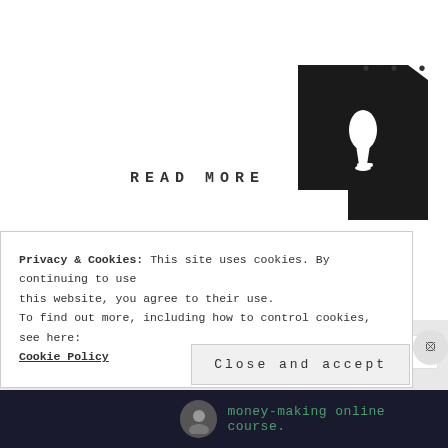READ MORE
[Figure (logo): Black logo with lightbulb/teardrop shape on dark background, three dots in upper right]
I Need Everything
I thought I knew what loss was…I have lost important people in my
Privacy & Cookies: This site uses cookies. By continuing to use this website, you agree to their use.
To find out more, including how to control cookies, see here:
Cookie Policy
Close and accept
money-making online course.